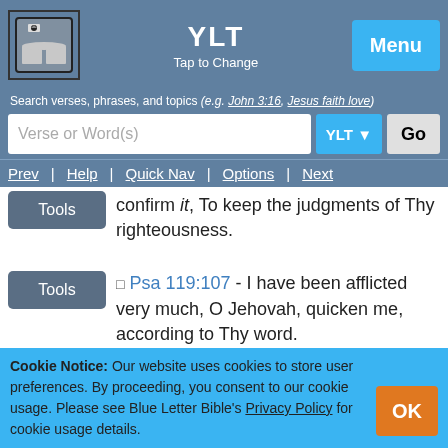YLT — Tap to Change | Menu
Search verses, phrases, and topics (e.g. John 3:16, Jesus faith love)
Verse or Word(s) — YLT — Go
Prev | Help | Quick Nav | Options | Next
confirm it, To keep the judgments of Thy righteousness.
Psa 119:107 - I have been afflicted very much, O Jehovah, quicken me, according to Thy word.
Psa 119:108 - Free-will-offerings of my
Cookie Notice: Our website uses cookies to store user preferences. By proceeding, you consent to our cookie usage. Please see Blue Letter Bible's Privacy Policy for cookie usage details.